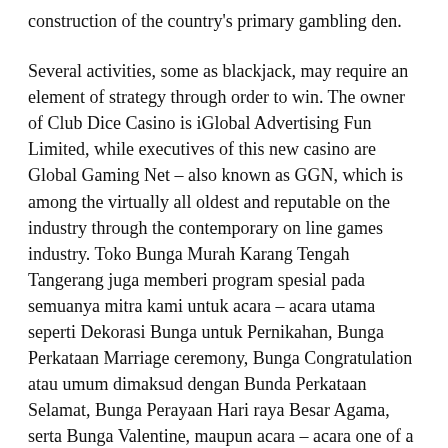construction of the country's primary gambling den.
Several activities, some as blackjack, may require an element of strategy through order to win. The owner of Club Dice Casino is iGlobal Advertising Fun Limited, while executives of this new casino are Global Gaming Net – also known as GGN, which is among the virtually all oldest and reputable on the industry through the contemporary on line games industry. Toko Bunga Murah Karang Tengah Tangerang juga memberi program spesial pada semuanya mitra kami untuk acara – acara utama seperti Dekorasi Bunga untuk Pernikahan, Bunga Perkataan Marriage ceremony, Bunga Congratulation atau umum dimaksud dengan Bunda Perkataan Selamat, Bunga Perayaan Hari raya Besar Agama, serta Bunga Valentine, maupun acara – acara one of a kind yang lain.